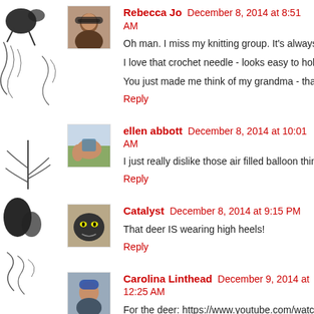[Figure (illustration): Left decorative strip with black ink drawings of plants, birds, and abstract shapes on white background]
Rebecca Jo  December 8, 2014 at 8:51 AM
Oh man. I miss my knitting group. It's always fun to sit & do a...
I love that crochet needle - looks easy to hold.
You just made me think of my grandma - that is one of her fa...
Reply
ellen abbott  December 8, 2014 at 10:01 AM
I just really dislike those air filled balloon thing seasonal deco...
Reply
Catalyst  December 8, 2014 at 9:15 PM
That deer IS wearing high heels!
Reply
Carolina Linthead  December 9, 2014 at 12:25 AM
For the deer: https://www.youtube.com/watch?v=sOIZutHUI4...
Reply